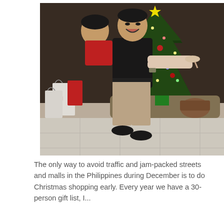[Figure (photo): A man laughing while carrying a woman in his arms, posing in front of a decorated Christmas tree. Shopping bags are visible on the left. The floor is tiled. The scene appears to be indoors, possibly in a mall or home.]
The only way to avoid traffic and jam-packed streets and malls in the Philippines during December is to do Christmas shopping early. Every year we have a 30-person gift list, I...